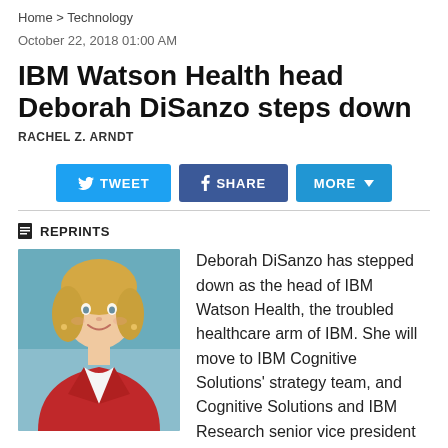Home > Technology
October 22, 2018 01:00 AM
IBM Watson Health head Deborah DiSanzo steps down
RACHEL Z. ARNDT
[Figure (infographic): Social sharing buttons: TWEET, SHARE, MORE with chevron]
REPRINTS
[Figure (photo): Headshot of Deborah DiSanzo, a woman with blonde hair wearing a red jacket, smiling]
Deborah DiSanzo has stepped down as the head of IBM Watson Health, the troubled healthcare arm of IBM. She will move to IBM Cognitive Solutions' strategy team, and Cognitive Solutions and IBM Research senior vice president John Kelly will take her